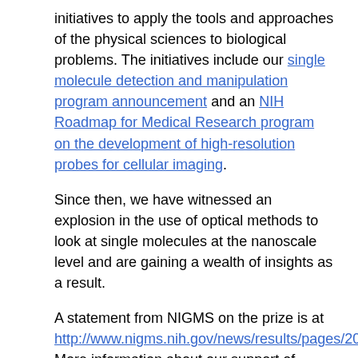initiatives to apply the tools and approaches of the physical sciences to biological problems. The initiatives include our single molecule detection and manipulation program announcement and an NIH Roadmap for Medical Research program on the development of high-resolution probes for cellular imaging.
Since then, we have witnessed an explosion in the use of optical methods to look at single molecules at the nanoscale level and are gaining a wealth of insights as a result.
A statement from NIGMS on the prize is at http://www.nigms.nih.gov/news/results/pages/20141008.aspx. More information about our support of Nobel Prize winners is at http://www.nigms.nih.gov/education/pages/factsheet_NIGMSNobelists.aspx and at